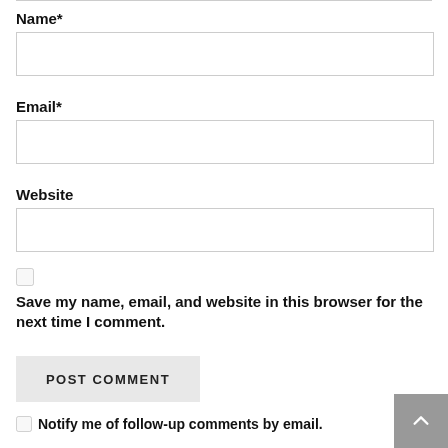Name*
[Figure (other): Empty text input box for Name field]
Email*
[Figure (other): Empty text input box for Email field]
Website
[Figure (other): Empty text input box for Website field]
Save my name, email, and website in this browser for the next time I comment.
POST COMMENT
Notify me of follow-up comments by email.